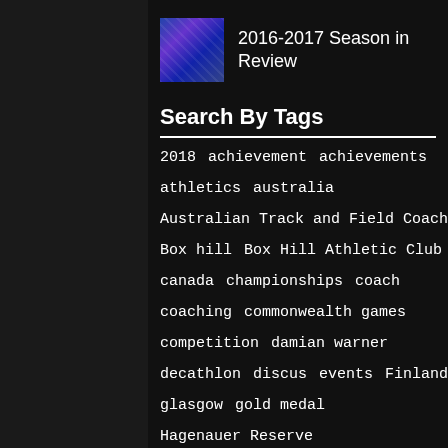[Figure (photo): Thumbnail photo of a group of athletes/people, used as article image for '2016-2017 Season in Review']
2016-2017 Season in Review
Search By Tags
2018   achievement   achievements   athletics   australia   Australian Track and Field Coaches...   Box hill   Box Hill Athletic Club   canada   championships   coach   coaching   commonwealth games   competition   damian warner   decathlon   discus   events   Finland   glasgow   gold medal   Hagenauer Reserve